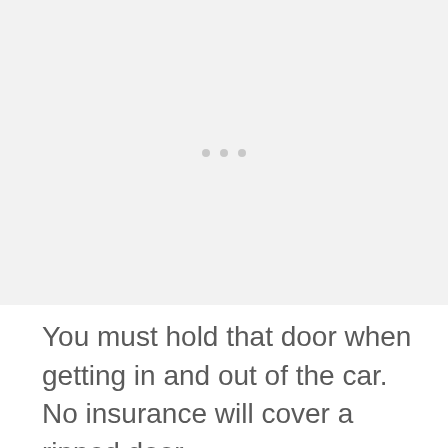[Figure (photo): Large image placeholder area with three small gray dots in the center, light gray background]
You must hold that door when getting in and out of the car.  No insurance will cover a ripped door.